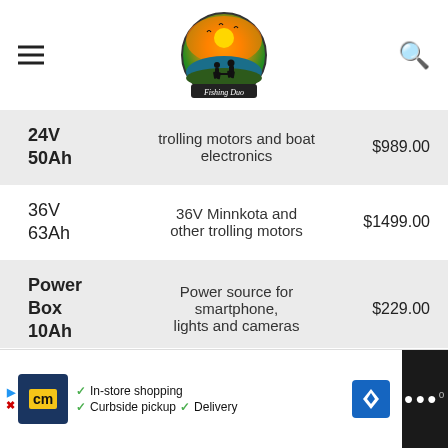Fishing Duo
| Spec | Description | Price |
| --- | --- | --- |
| 24V 50Ah | trolling motors and boat electronics | $989.00 |
| 36V 63Ah | 36V Minnkota and other trolling motors | $1499.00 |
| Power Box 10Ah | Power source for smartphone, lights and cameras | $229.00 |
In-store shopping  Curbside pickup  Delivery